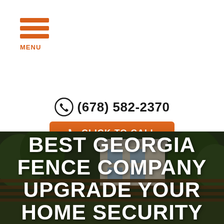MENU
(678) 582-2370
CLICK TO CALL
8am to 5pm
[Figure (photo): Exterior photo of a modern house with a wooden horizontal fence and trees in the background]
BEST GEORGIA FENCE COMPANY UPGRADE YOUR HOME SECURITY